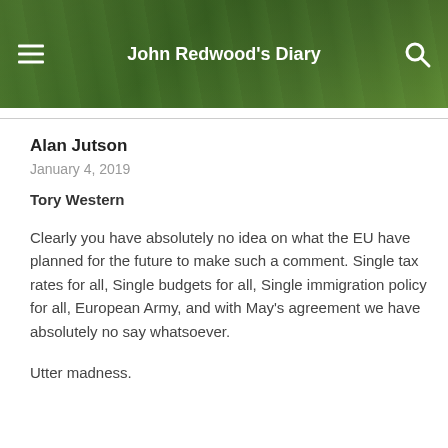John Redwood's Diary
Alan Jutson
January 4, 2019
Tory Western
Clearly you have absolutely no idea on what the EU have planned for the future to make such a comment. Single tax rates for all, Single budgets for all, Single immigration policy for all, European Army, and with May's agreement we have absolutely no say whatsoever.
Utter madness.